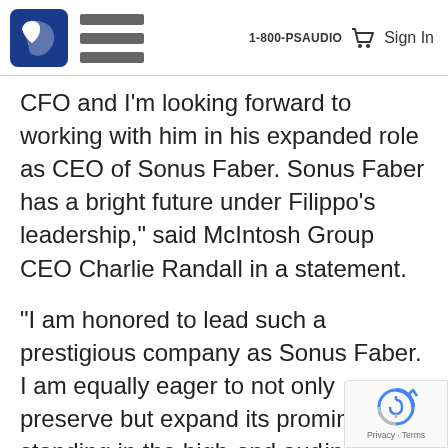1-800-PSAUDIO  Sign In
CFO and I’m looking forward to working with him in his expanded role as CEO of Sonus Faber. Sonus Faber has a bright future under Filippo’s leadership,” said McIntosh Group CEO Charlie Randall in a statement.
“I am honored to lead such a prestigious company as Sonus Faber. I am equally eager to not only preserve but expand its prominent standing in the high-end aud… industry in order to provide our custom… with the very best Italian handcrafted…